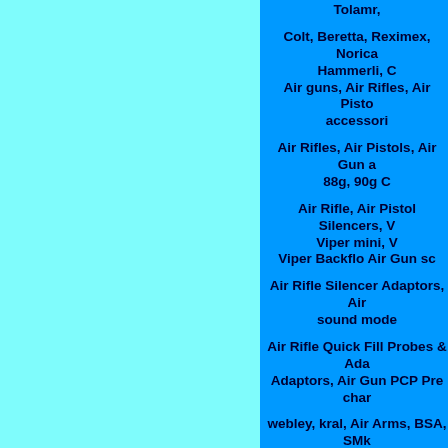Tolamr, Colt, Beretta, Reximex, Norica, Hammerli, C... Air guns, Air Rifles, Air Pisto... accessori... Air Rifles, Air Pistols, Air Gun a... 88g, 90g C... Air Rifle, Air Pistol Silencers, V... Viper mini, V... Viper Backflo Air Gun sc... Air Rifle Silencer Adaptors, Air ... sound mode... Air Rifle Quick Fill Probes & Ada... Adaptors, Air Gun PCP Pre char... webley, kral, Air Arms, BSA, SMk... Enfield, ... Diana, Logun, RWS, Weihra... ZOS scopes, NMP scopes, Nikk... SMK scopes, mount... We sell a wide selection of air g... from all th... H&N, JSB, QYS, Air Arms, Wei... RWS, R...